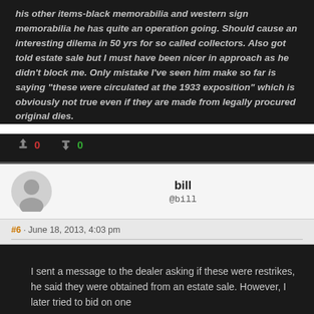his other items-black memorabilia and western sign memorabilia he has quite an operation going. Should cause an interesting dilema in 50 yrs for so called collectors. Also got told estate sale but I must have been nicer in approach as he didn't block me. Only mistake I've seen him make so far is saying "these were circulated at the 1933 exposition" which is obviously not true even if they are made from legally procured original dies.
👎 0   👍 0
bill @bill
#6 · June 18, 2013, 4:03 pm
I sent a message to the dealer asking if these were restrikes, he said they were obtained from an estate sale. However, I later tried to bid on one